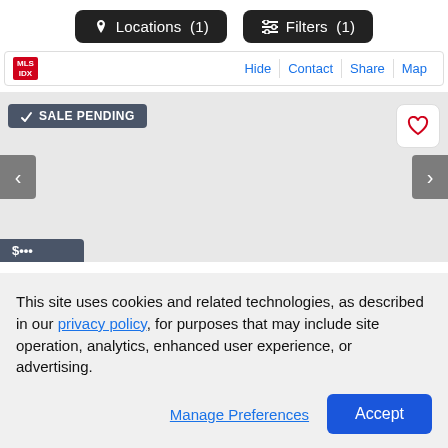[Figure (screenshot): Top navigation bar with two dark rounded buttons: 'Locations (1)' with a location pin icon, and 'Filters (1)' with a sliders icon]
[Figure (screenshot): MLS listing bar with MLS logo on left and action links Hide, Contact, Share, Map on right]
[Figure (screenshot): Real estate listing image area showing SALE PENDING badge, heart/favorite button, left and right navigation arrows, and a partial price badge at bottom left]
This site uses cookies and related technologies, as described in our privacy policy, for purposes that may include site operation, analytics, enhanced user experience, or advertising.
Manage Preferences
Accept